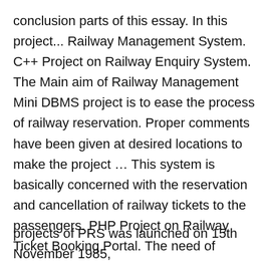conclusion parts of this essay. In this project... Railway Management System. C++ Project on Railway Enquiry System. The Main aim of Railway Management Mini DBMS project is to ease the process of railway reservation. Proper comments have been given at desired locations to make the project ... This system is basically concerned with the reservation and cancellation of railway tickets to the passengers. PHP Project on Railway Ticket Booking Portal. The need of th... In... p...
[Figure (screenshot): Cookie consent popup overlay on a dark background. Text reads: 'This website uses cookies and personal data to enhance your browsing experience.' Two buttons: 'OK, I AGREE' (red) and 'PRIVACY POLICY' (outlined white).]
projects of PRS was launched on 15th November 1985,